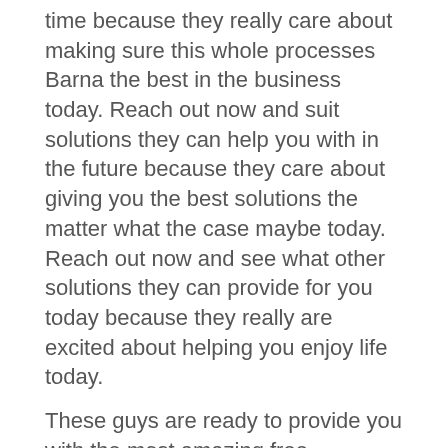time because they really care about making sure this whole processes Barna the best in the business today. Reach out now and suit solutions they can help you with in the future because they care about giving you the best solutions the matter what the case maybe today. Reach out now and see what other solutions they can provide for you today because they really are excited about helping you enjoy life today.
These guys are ready to provide you with the most amazing free estimates deafly reach out now and see what services the WoodGuys can help you today. These guys can do they can to get you the most pristine new floors today because they really care about setting a for success in providing you the best solutions in town the matter what the case may be today.